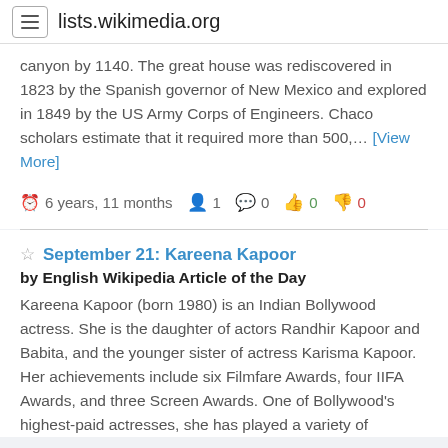lists.wikimedia.org
canyon by 1140. The great house was rediscovered in 1823 by the Spanish governor of New Mexico and explored in 1849 by the US Army Corps of Engineers. Chaco scholars estimate that it required more than 500,… [View More]
6 years, 11 months  1  0  0  0
September 21: Kareena Kapoor
by English Wikipedia Article of the Day
Kareena Kapoor (born 1980) is an Indian Bollywood actress. She is the daughter of actors Randhir Kapoor and Babita, and the younger sister of actress Karisma Kapoor. Her achievements include six Filmfare Awards, four IIFA Awards, and three Screen Awards. One of Bollywood's highest-paid actresses, she has played a variety of